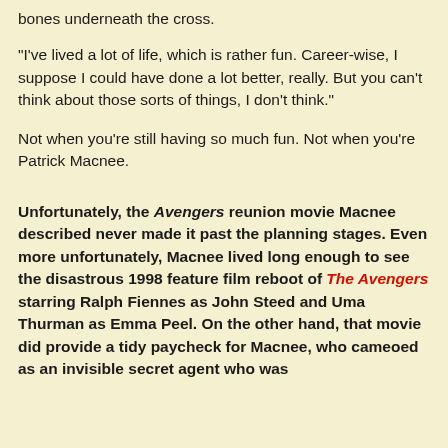bones underneath the cross.
"I've lived a lot of life, which is rather fun. Career-wise, I suppose I could have done a lot better, really. But you can't think about those sorts of things, I don't think."
Not when you're still having so much fun. Not when you're Patrick Macnee.
Unfortunately, the Avengers reunion movie Macnee described never made it past the planning stages. Even more unfortunately, Macnee lived long enough to see the disastrous 1998 feature film reboot of The Avengers starring Ralph Fiennes as John Steed and Uma Thurman as Emma Peel. On the other hand, that movie did provide a tidy paycheck for Macnee, who cameoed as an invisible secret agent who was